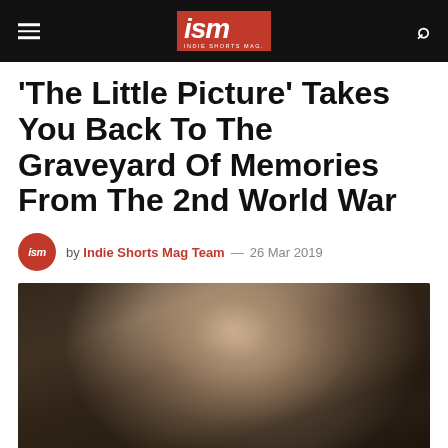ISM — INDIE SHORTS MAG.
'The Little Picture' Takes You Back To The Graveyard Of Memories From The 2nd World War
by Indie Shorts Mag Team — 26 Mar 2019
[Figure (photo): Close-up of a soldier in WWII-era helmet looking intensely forward, sepia/warm toned photograph]